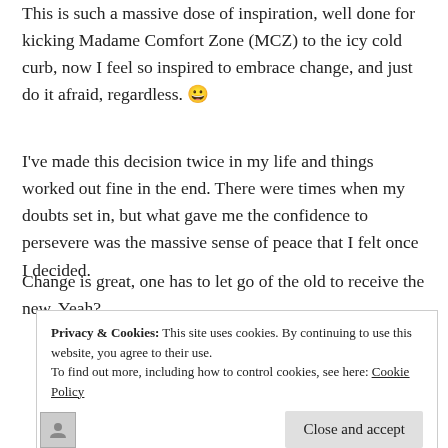This is such a massive dose of inspiration, well done for kicking Madame Comfort Zone (MCZ) to the icy cold curb, now I feel so inspired to embrace change, and just do it afraid, regardless. 😀
I've made this decision twice in my life and things worked out fine in the end. There were times when my doubts set in, but what gave me the confidence to persevere was the massive sense of peace that I felt once I decided.
Change is great, one has to let go of the old to receive the new. Yeah?
Privacy & Cookies: This site uses cookies. By continuing to use this website, you agree to their use.
To find out more, including how to control cookies, see here: Cookie Policy